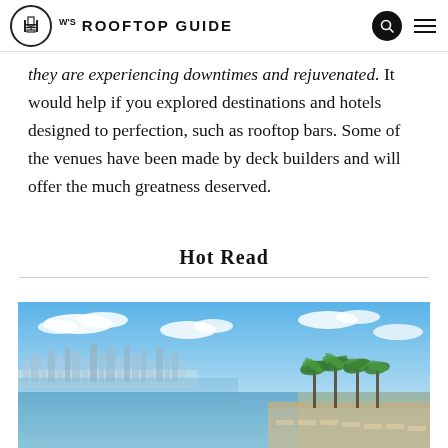Rooftop Guide
they are experiencing downtimes and rejuvenated. It would help if you explored destinations and hotels designed to perfection, such as rooftop bars. Some of the venues have been made by deck builders and will offer the much greatness deserved.
Hot Read
[Figure (photo): Rooftop infinity pool overlooking a city skyline with palm trees under a blue sky with clouds, likely Dubai.]